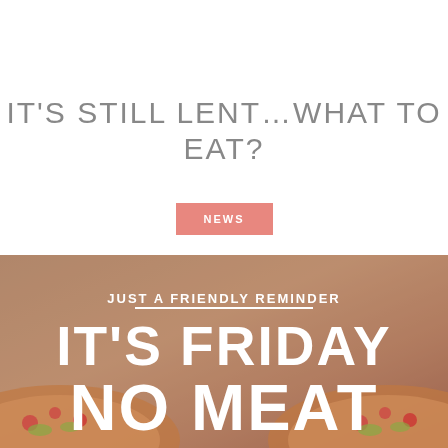IT'S STILL LENT...WHAT TO EAT?
NEWS
[Figure (photo): Promotional image with food (pizza) background with overlaid text reading 'JUST A FRIENDLY REMINDER / IT'S FRIDAY / NO MEAT']